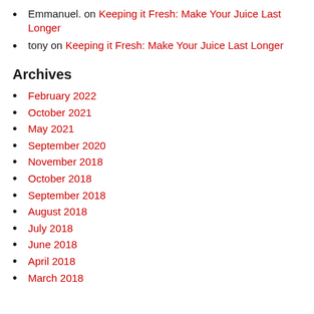Emmanuel. on Keeping it Fresh: Make Your Juice Last Longer
tony on Keeping it Fresh: Make Your Juice Last Longer
Archives
February 2022
October 2021
May 2021
September 2020
November 2018
October 2018
September 2018
August 2018
July 2018
June 2018
April 2018
March 2018